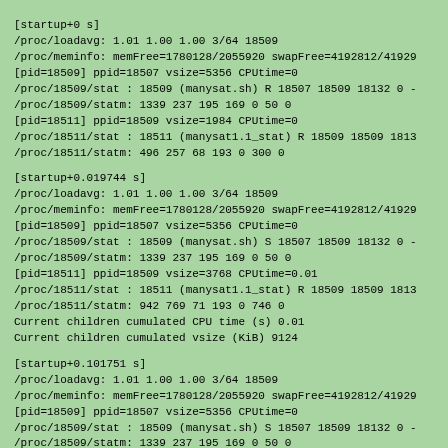[startup+0 s]
/proc/loadavg: 1.01 1.00 1.00 3/64 18509
/proc/meminfo: memFree=1780128/2055920 swapFree=4192812/41929
[pid=18509] ppid=18507 vsize=5356 CPUtime=0
/proc/18509/stat : 18509 (manysat.sh) R 18507 18509 18132 0 -
/proc/18509/statm: 1339 237 195 169 0 50 0
[pid=18511] ppid=18509 vsize=1984 CPUtime=0
/proc/18511/stat : 18511 (manysat1.1_stat) R 18509 18509 1813
/proc/18511/statm: 496 257 68 193 0 300 0
[startup+0.019744 s]
/proc/loadavg: 1.01 1.00 1.00 3/64 18509
/proc/meminfo: memFree=1780128/2055920 swapFree=4192812/41929
[pid=18509] ppid=18507 vsize=5356 CPUtime=0
/proc/18509/stat : 18509 (manysat.sh) S 18507 18509 18132 0 -
/proc/18509/statm: 1339 237 195 169 0 50 0
[pid=18511] ppid=18509 vsize=3768 CPUtime=0.01
/proc/18511/stat : 18511 (manysat1.1_stat) R 18509 18509 1813
/proc/18511/statm: 942 769 71 193 0 746 0
Current children cumulated CPU time (s) 0.01
Current children cumulated vsize (KiB) 9124
[startup+0.101751 s]
/proc/loadavg: 1.01 1.00 1.00 3/64 18509
/proc/meminfo: memFree=1780128/2055920 swapFree=4192812/41929
[pid=18509] ppid=18507 vsize=5356 CPUtime=0
/proc/18509/stat : 18509 (manysat.sh) S 18507 18509 18132 0 -
/proc/18509/statm: 1339 237 195 169 0 50 0
[pid=18511] ppid=18509 vsize=12868 CPUtime=0.09
/proc/18511/stat : 18511 (manysat1.1 stat) R 18509 18509 1813